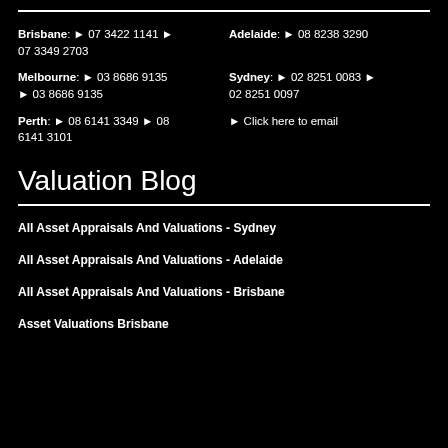Brisbane: 07 3422 1141 / 07 3349 2703
Adelaide: 08 8238 3290
Melbourne: 03 8686 9135 / 03 8686 9135
Sydney: 02 8251 0083 / 02 8251 0097
Perth: 08 6141 3349 / 08 6141 3101
Click here to email
Valuation Blog
All Asset Appraisals And Valuations - Sydney
All Asset Appraisals And Valuations - Adelaide
All Asset Appraisals And Valuations - Brisbane
Asset Valuations Brisbane